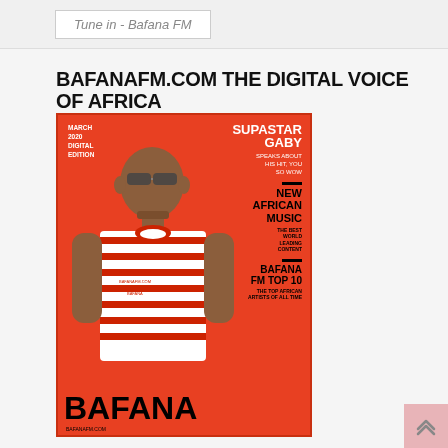Tune in - Bafana FM
BAFANAFM.COM THE DIGITAL VOICE OF AFRICA
[Figure (illustration): Magazine cover for Bafana FM digital edition March 2020 showing a man in a red and white striped shirt against an orange/red background, with text: SUPASTAR GABY speaks about his hit 'YOU SO WOW', NEW AFRICAN MUSIC, BAFANA FM TOP 10, THE TOP AFRICAN ARTISTS OF ALL TIME, and large BAFANA text at the bottom]